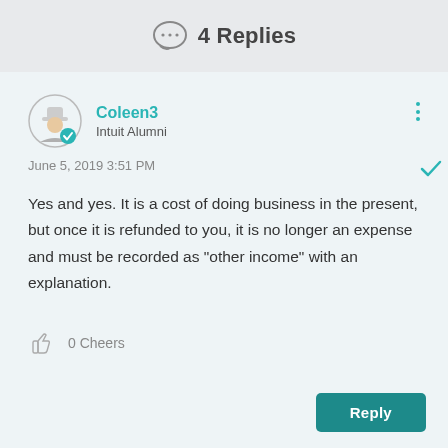4 Replies
Coleen3
Intuit Alumni
June 5, 2019 3:51 PM
Yes and yes. It is a cost of doing business in the present, but once it is refunded to you, it is no longer an expense and must be recorded as "other income" with an explanation.
0 Cheers